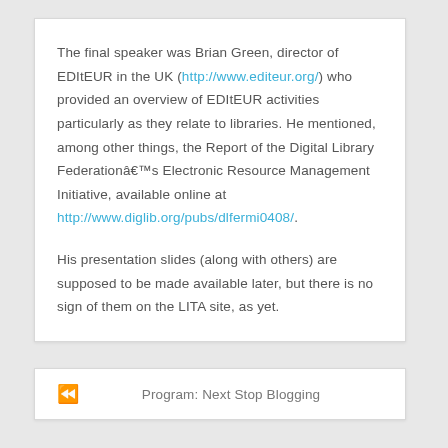The final speaker was Brian Green, director of EDItEUR in the UK (http://www.editeur.org/) who provided an overview of EDItEUR activities particularly as they relate to libraries. He mentioned, among other things, the Report of the Digital Library Federationâ€™s Electronic Resource Management Initiative, available online at http://www.diglib.org/pubs/dlfermi0408/.
His presentation slides (along with others) are supposed to be made available later, but there is no sign of them on the LITA site, as yet.
Program: Next Stop Blogging